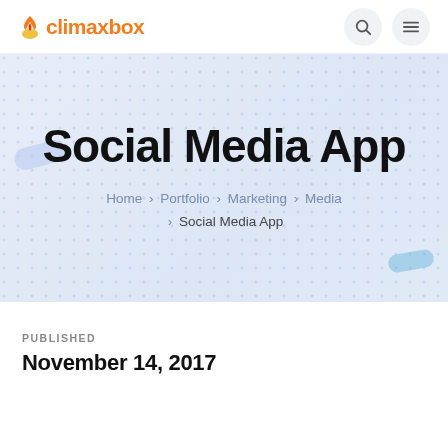climaxbox
Social Media App
Home > Portfolio > Marketing > Media > Social Media App
PUBLISHED
November 14, 2017